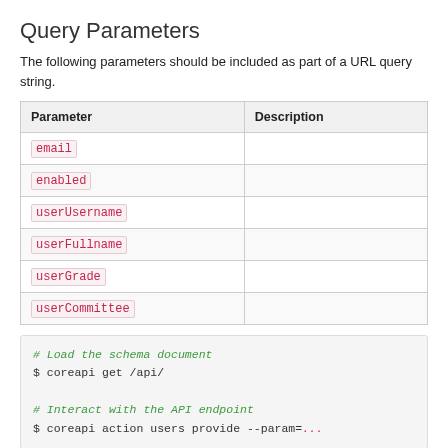Query Parameters
The following parameters should be included as part of a URL query string.
| Parameter | Description |
| --- | --- |
| email |  |
| enabled |  |
| userUsername |  |
| userFullname |  |
| userGrade |  |
| userCommittee |  |
# Load the schema document
$ coreapi get /api/

# Interact with the API endpoint